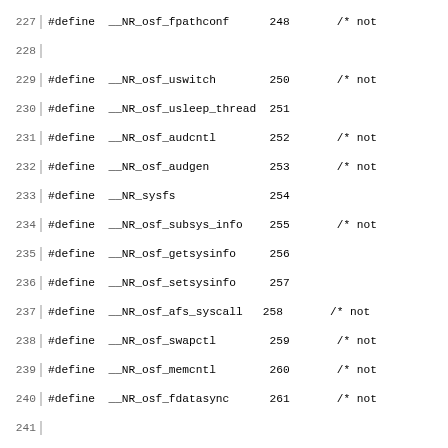Code listing lines 227-256 showing C preprocessor #define macros for system calls and __IGNORE_ macros for legacy syscalls